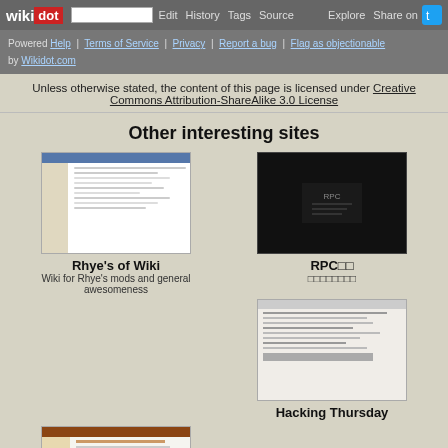wikidot | Edit | History | Tags | Source | Explore | Share on Twitter
Powered by Help | Terms of Service | Privacy | Report a bug | Flag as objectionable | Wikidot.com
Unless otherwise stated, the content of this page is licensed under Creative Commons Attribution-ShareAlike 3.0 License
Other interesting sites
[Figure (screenshot): Screenshot of Rhye's of Wiki website]
Rhye's of Wiki
Wiki for Rhye's mods and general awesomeness
[Figure (screenshot): Screenshot of RPC wiki dark-themed website]
RPC□□
□□□□□□□□
[Figure (screenshot): Screenshot of Hacking Thursday website]
Hacking Thursday
[Figure (screenshot): Screenshot of Principles of Biology II website]
Principles of Biology II